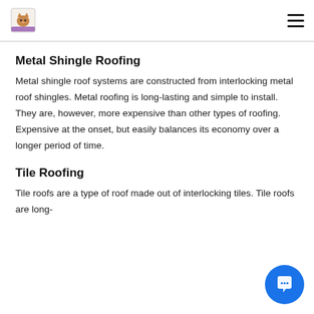Metal Shingle Roofing
Metal shingle roof systems are constructed from interlocking metal roof shingles. Metal roofing is long-lasting and simple to install. They are, however, more expensive than other types of roofing. Expensive at the onset, but easily balances its economy over a longer period of time.
Tile Roofing
Tile roofs are a type of roof made out of interlocking tiles. Tile roofs are long-